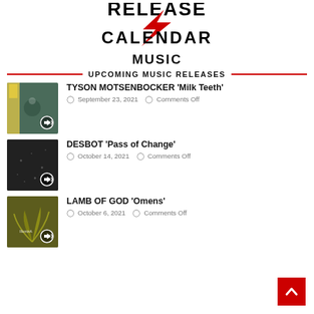[Figure (logo): Release Calendar logo with lightning bolt, bold text 'RELEASE CALENDAR']
MUSIC
UPCOMING MUSIC RELEASES
[Figure (photo): Album cover thumbnail for Tyson Motsenbocker Milk Teeth with speaker icon]
TYSON MOTSENBOCKER 'Milk Teeth'
September 23, 2021  Comments Off
[Figure (photo): Album cover thumbnail for DESBOT Pass of Change with speaker icon]
DESBOT 'Pass of Change'
October 14, 2021  Comments Off
[Figure (photo): Album cover thumbnail for Lamb of God Omens with speaker icon]
LAMB OF GOD 'Omens'
October 6, 2021  Comments Off